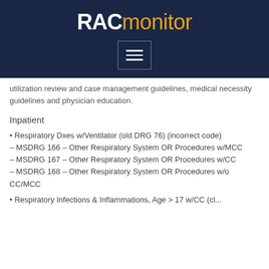RACmonitor
utilization review and case management guidelines, medical necessity guidelines and physician education.
Inpatient
• Respiratory Dxes w/Ventilator (old DRG 76) (incorrect code) – MSDRG 166 – Other Respiratory System OR Procedures w/MCC – MSDRG 167 – Other Respiratory System OR Procedures w/CC – MSDRG 168 – Other Respiratory System OR Procedures w/o CC/MCC
• Respiratory Infections & Inflammations, Age > 17 w/CC (cl...